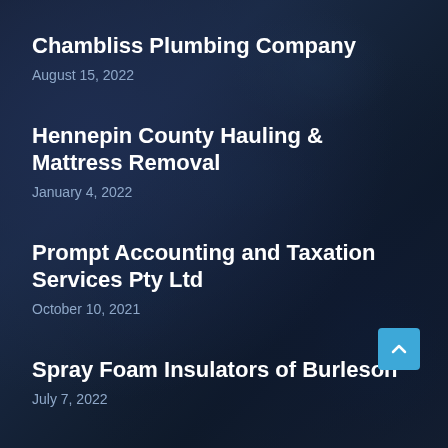Chambliss Plumbing Company
August 15, 2022
Hennepin County Hauling & Mattress Removal
January 4, 2022
Prompt Accounting and Taxation Services Pty Ltd
October 10, 2021
Spray Foam Insulators of Burleson
July 7, 2022
Parter's Bathroom Remodel
February 9, 2022